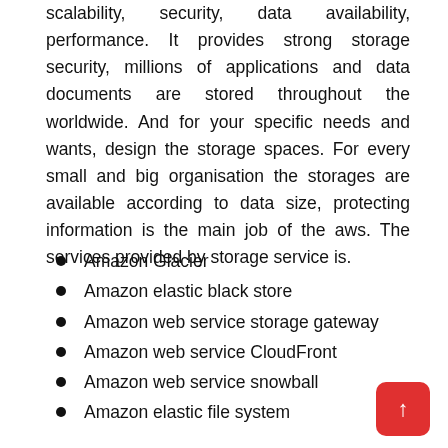scalability, security, data availability, performance. It provides strong storage security, millions of applications and data documents are stored throughout the worldwide. And for your specific needs and wants, design the storage spaces. For every small and big organisation the storages are available according to data size, protecting information is the main job of the aws. The services provided by storage service is.
Amazon Glacier
Amazon elastic black store
Amazon web service storage gateway
Amazon web service CloudFront
Amazon web service snowball
Amazon elastic file system